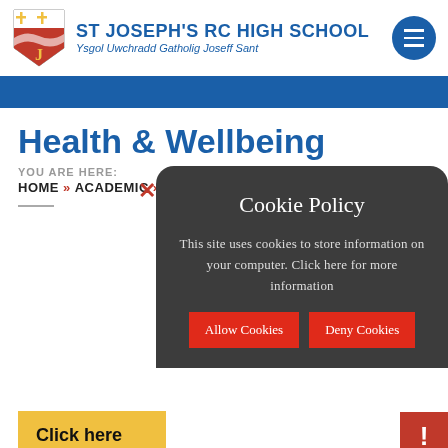[Figure (logo): St Joseph's RC High School shield logo with cross and wave motifs]
ST JOSEPH'S RC HIGH SCHOOL
Ysgol Uwchradd Gatholig Joseff Sant
Health & Wellbeing
YOU ARE HERE:
HOME » ACADEMIC » HEALTH & WELLBEING
Cookie Policy
This site uses cookies to store information on your computer. Click here for more information
Allow Cookies   Deny Cookies
Click here